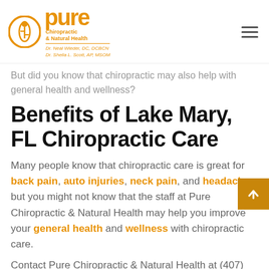[Figure (logo): Pure Chiropractic & Natural Health logo with orange circle spine graphic, orange 'pure' wordmark, tagline, and doctors' names]
But did you know that chiropractic may also help with general health and wellness?
Benefits of Lake Mary, FL Chiropractic Care
Many people know that chiropractic care is great for back pain, auto injuries, neck pain, and headaches, but you might not know that the staff at Pure Chiropractic & Natural Health may help you improve your general health and wellness with chiropractic care.
Contact Pure Chiropractic & Natural Health at (407)